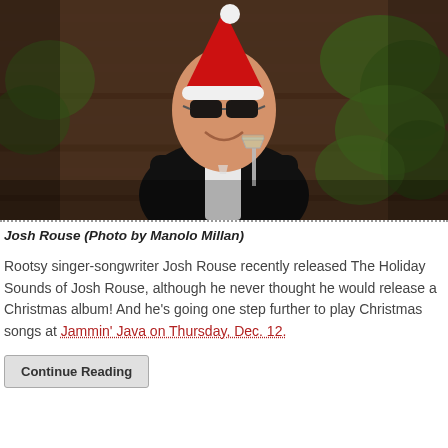[Figure (photo): Man in black tuxedo with bow tie and Santa hat, wearing sunglasses, holding a champagne flute, smiling. Background shows wooden fence and green foliage. Photo by Manolo Millan.]
Josh Rouse (Photo by Manolo Millan)
Rootsy singer-songwriter Josh Rouse recently released The Holiday Sounds of Josh Rouse, although he never thought he would release a Christmas album! And he's going one step further to play Christmas songs at Jammin' Java on Thursday, Dec. 12.
Continue Reading